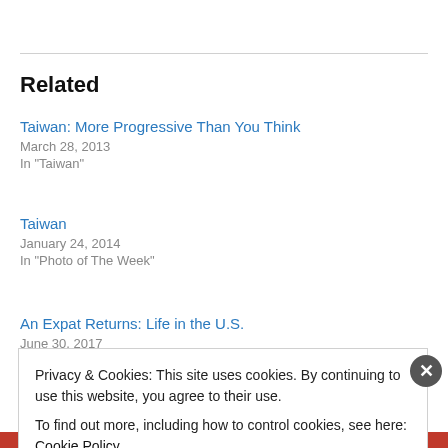Related
Taiwan: More Progressive Than You Think
March 28, 2013
In "Taiwan"
Taiwan
January 24, 2014
In "Photo of The Week"
An Expat Returns: Life in the U.S.
June 30, 2017
Privacy & Cookies: This site uses cookies. By continuing to use this website, you agree to their use.
To find out more, including how to control cookies, see here: Cookie Policy
Close and accept